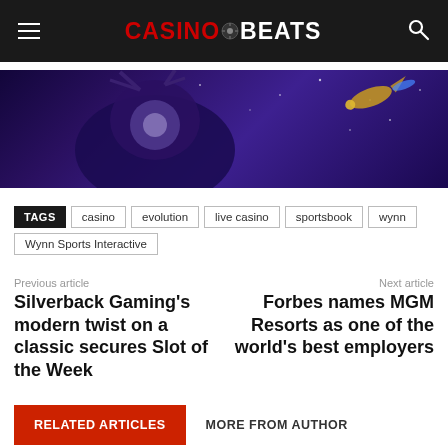CASINOBEATS
[Figure (illustration): Banner image with fantasy/game character with antlers against dark purple starry background, with a small flying figure on the right]
TAGS  casino  evolution  live casino  sportsbook  wynn  Wynn Sports Interactive
Previous article
Silverback Gaming's modern twist on a classic secures Slot of the Week
Next article
Forbes names MGM Resorts as one of the world's best employers
RELATED ARTICLES  MORE FROM AUTHOR
Norwegian operators asked to reduce